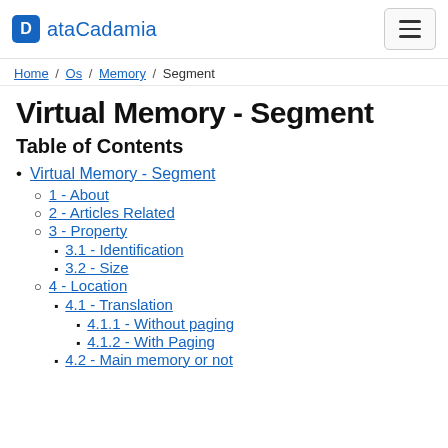ataCadamia
Home / Os / Memory / Segment
Virtual Memory - Segment
Table of Contents
Virtual Memory - Segment
1 - About
2 - Articles Related
3 - Property
3.1 - Identification
3.2 - Size
4 - Location
4.1 - Translation
4.1.1 - Without paging
4.1.2 - With Paging
4.2 - Main memory or not